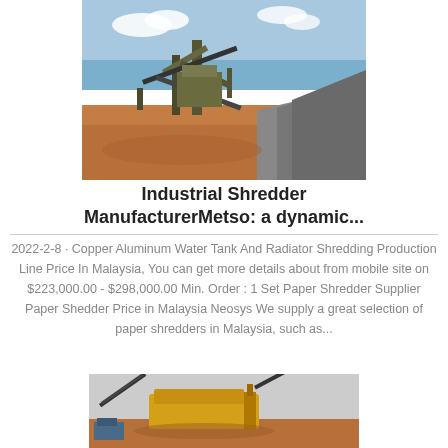[Figure (photo): Industrial shredder/crusher machinery at an open-air quarry or mining site, showing conveyor belts, large equipment, red dirt ground, and grey gravel mounds under a blue sky.]
Industrial Shredder ManufacturerMetso: a dynamic...
2022-2-8 · Copper Aluminum Water Tank And Radiator Shredding Production Line Price In Malaysia, You can get more details about from mobile site on $223,000.00 - $298,000.00 Min. Order : 1 Set Paper Shredder Supplier Paper Shedder Price in Malaysia Neosys We supply a great selection of paper shredders in Malaysia, such as...
[Figure (photo): Large yellow industrial crushing or mining machine on a reddish-brown ground, with conveyor belt structures visible against a light background.]